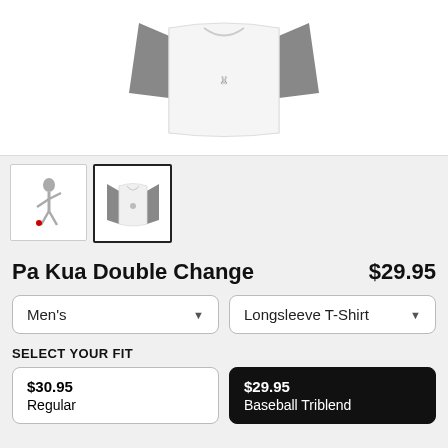[Figure (photo): Product image of a baseball raglan longsleeve t-shirt, white body with gray sleeves, shown from front]
[Figure (photo): Two product thumbnails: first shows a design illustration, second (selected) shows the raglan baseball t-shirt]
Pa Kua Double Change   $29.95
Men's   Longsleeve T-Shirt
SELECT YOUR FIT
$30.95
Regular
$29.95
Baseball Triblend